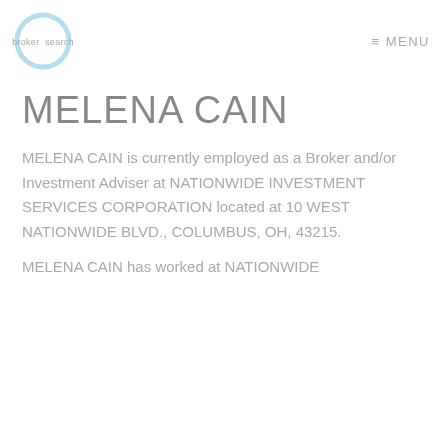[Figure (logo): Broker Search logo: light blue hand-drawn circle with 'broker' and 'search' text]
≡ MENU
MELENA CAIN
MELENA CAIN is currently employed as a Broker and/or Investment Adviser at NATIONWIDE INVESTMENT SERVICES CORPORATION located at 10 WEST NATIONWIDE BLVD., COLUMBUS, OH, 43215.
MELENA CAIN has worked at NATIONWIDE